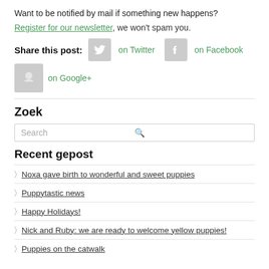Want to be notified by mail if something new happens?
Register for our newsletter, we won't spam you.
Share this post: on Twitter on Facebook on Google+
Zoek
Search
Recent gepost
Noxa gave birth to wonderful and sweet puppies
Puppytastic news
Happy Holidays!
Nick and Ruby: we are ready to welcome yellow puppies!
Puppies on the catwalk